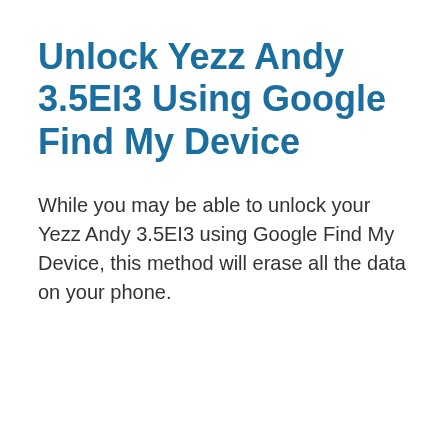Unlock Yezz Andy 3.5EI3 Using Google Find My Device
While you may be able to unlock your Yezz Andy 3.5EI3 using Google Find My Device, this method will erase all the data on your phone.